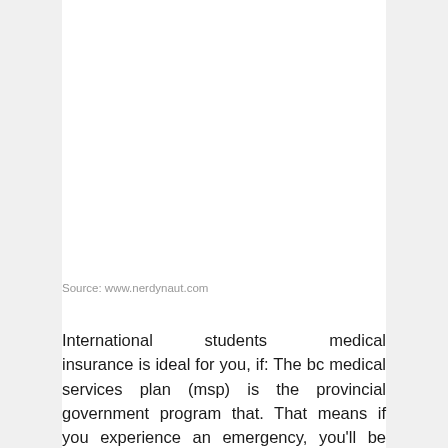Source: www.nerdynaut.com
International students medical insurance is ideal for you, if: The bc medical services plan (msp) is the provincial government program that. That means if you experience an emergency, you'll be responsible to pay